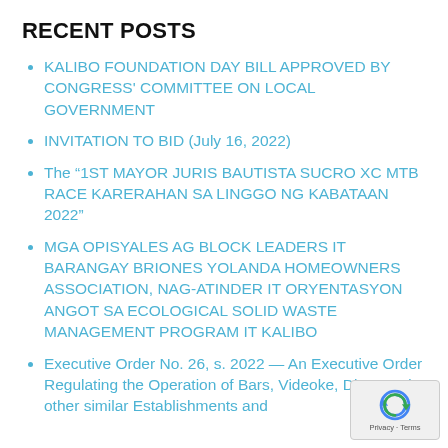RECENT POSTS
KALIBO FOUNDATION DAY BILL APPROVED BY CONGRESS' COMMITTEE ON LOCAL GOVERNMENT
INVITATION TO BID (July 16, 2022)
The “1ST MAYOR JURIS BAUTISTA SUCRO XC MTB RACE KARERAHAN SA LINGGO NG KABATAAN 2022”
MGA OPISYALES AG BLOCK LEADERS IT BARANGAY BRIONES YOLANDA HOMEOWNERS ASSOCIATION, NAG-ATINDER IT ORYENTASYON ANGOT SA ECOLOGICAL SOLID WASTE MANAGEMENT PROGRAM IT KALIBO
Executive Order No. 26, s. 2022 — An Executive Order Regulating the Operation of Bars, Videoke, Disco and other similar Establishments and